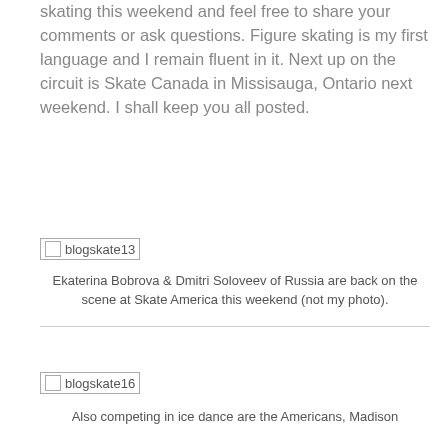skating this weekend and feel free to share your comments or ask questions. Figure skating is my first language and I remain fluent in it. Next up on the circuit is Skate Canada in Missisauga, Ontario next weekend. I shall keep you all posted.
[Figure (photo): blogskate13 - placeholder image]
Ekaterina Bobrova & Dmitri Soloveev of Russia are back on the scene at Skate America this weekend (not my photo).
[Figure (photo): blogskate16 - placeholder image]
Also competing in ice dance are the Americans, Madison